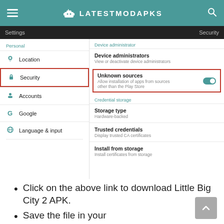LATESTMODAPKS
[Figure (screenshot): Android Settings screen showing Security menu highlighted with red border. Right pane shows Device administrator section, Unknown sources toggle (enabled, teal), and Credential storage section with Storage type, Trusted credentials, and Install from storage options.]
Click on the above link to download Little Big City 2 APK.
Save the file in your device Downloads folder.
Locate the file and click on it.